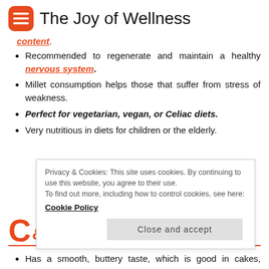The Joy of Wellness
content.
Recommended to regenerate and maintain a healthy nervous system.
Millet consumption helps those that suffer from stress of weakness.
Perfect for vegetarian, vegan, or Celiac diets.
Very nutritious in diets for children or the elderly.
Privacy & Cookies: This site uses cookies. By continuing to use this website, you agree to their use. To find out more, including how to control cookies, see here: Cookie Policy
C...g
Has a smooth, buttery taste, which is good in cakes, soups, stews, etc.